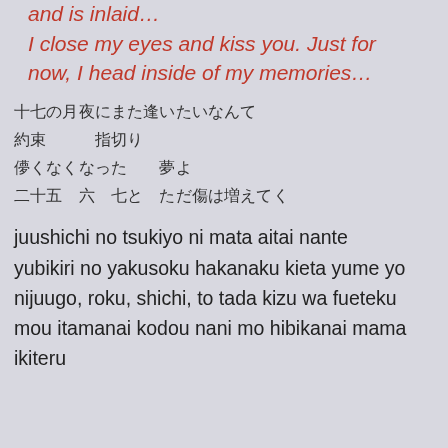and is inlaid…
I close my eyes and kiss you. Just for now, I head inside of my memories…
十七の月夜にまた逢いたいなんて
約束　指切り
儚くなくなった夢よ
二十五　六　七と　ただ傷は増えてく
juushichi no tsukiyo ni mata aitai nante
yubikiri no yakusoku hakanaku kieta yume yo
nijuugo, roku, shichi, to tada kizu wa fueteku
mou itamanai kodou nani mo hibikanai mama
ikiteru